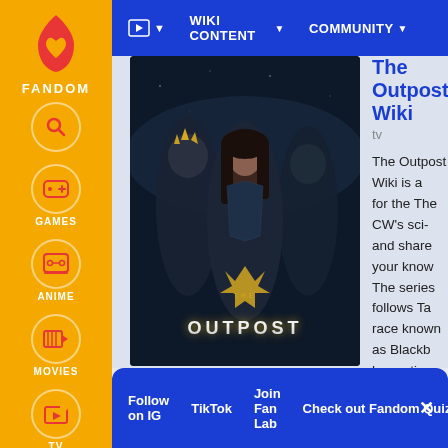FANDOM | WIKI CONTENT | COMMUNITY
[Figure (screenshot): Screenshot of The Outpost Wiki Fandom page showing sidebar navigation with FANDOM logo, GAMES, ANIME, MOVIES, TV, VIDEO icons; top navigation bar with WIKI CONTENT and COMMUNITY menus; main content area with The Outpost TV show poster image and wiki description text; bottom promotional bar with Follow on IG, TikTok, Join Fan Lab, and Check out Fandom Quizzes links]